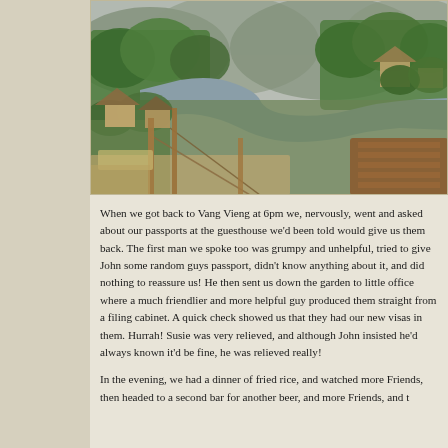[Figure (photo): Aerial/elevated view of Vang Vieng, Laos showing a river winding through lush green tropical vegetation, wooden bridges and structures along the riverbank, traditional buildings/huts, and mountains in the background under a grey overcast sky.]
When we got back to Vang Vieng at 6pm we, nervously, went and asked about our passports at the guesthouse we'd been told would give us them back. The first man we spoke too was grumpy and unhelpful, tried to give John some random guys passport, didn't know anything about it, and did nothing to reassure us! He then sent us down the garden to little office where a much friendlier and more helpful guy produced them straight from a filing cabinet. A quick check showed us that they had our new visas in them. Hurrah! Susie was very relieved, and although John insisted he'd always known it'd be fine, he was relieved really!
In the evening, we had a dinner of fried rice, and watched more Friends, then headed to a second bar for another beer, and more Friends, and t